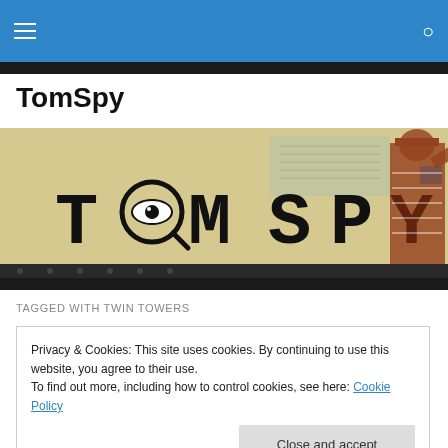TomSpy — navigation bar with hamburger menu and search icon
TomSpy
[Figure (illustration): TomSpy website banner image with vintage/retro style lettering spelling TOMSPY, with a magnifying glass replacing the O, set against aged paper background with Egyptian-style figure illustration on the right]
TAGGED WITH TWIN TOWERS
Privacy & Cookies: This site uses cookies. By continuing to use this website, you agree to their use.
To find out more, including how to control cookies, see here: Cookie Policy
Close and accept